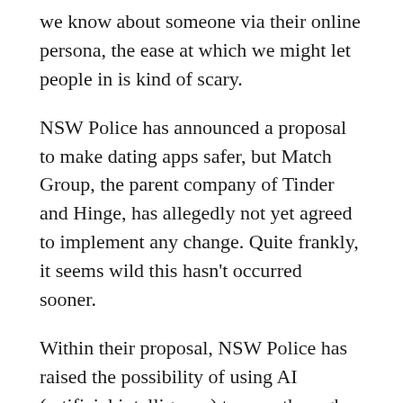we know about someone via their online persona, the ease at which we might let people in is kind of scary.
NSW Police has announced a proposal to make dating apps safer, but Match Group, the parent company of Tinder and Hinge, has allegedly not yet agreed to implement any change. Quite frankly, it seems wild this hasn't occurred sooner.
Within their proposal, NSW Police has raised the possibility of using AI (artificial intelligence) to scan through conversations for “red flags.” NSW Police also proposed a “portal”, for police to access reports of sexual assaults made to dating apps, so they can find patterns and potentially stop repeat offenders.
Match Group have responded with a statement that